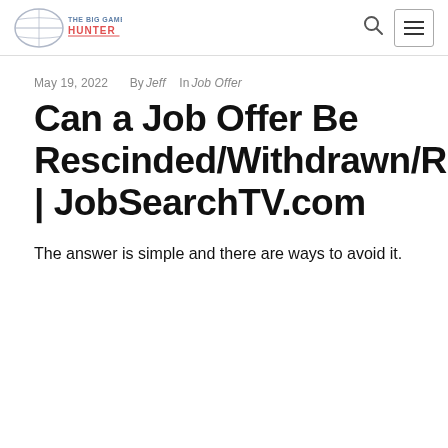The Big Game Hunter [logo] | search | menu
May 19, 2022   By Jeff   In Job Offer
Can a Job Offer Be Rescinded/Withdrawn/Retracted? | JobSearchTV.com
The answer is simple and there are ways to avoid it.